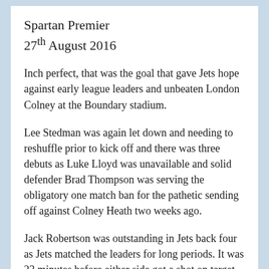Spartan Premier
27th August 2016
Inch perfect, that was the goal that gave Jets hope against early league leaders and unbeaten London Colney at the Boundary stadium.
Lee Stedman was again let down and needing to reshuffle prior to kick off and there was three debuts as Luke Lloyd was unavailable and solid defender Brad Thompson was serving the obligatory one match ban for the pathetic sending off against Colney Heath two weeks ago.
Jack Robertson was outstanding in Jets back four as Jets matched the leaders for long periods. It was 23 minutes before either side got a shot on target and it from a